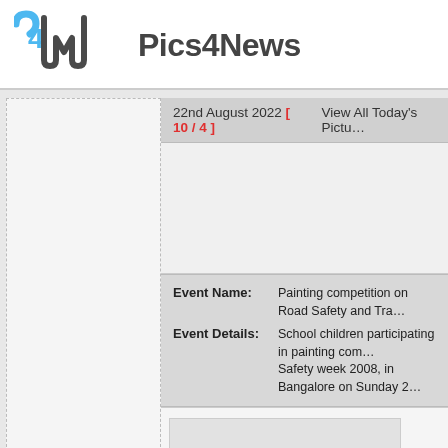[Figure (logo): Pics4News logo with blue P4N icon and bold gray sans-serif text 'Pics4News']
22nd August 2022 [ 10 / 4 ]
View All Today's Pictu…
[Figure (photo): Empty image placeholder in the main content area]
Event Name: Painting competition on Road Safety and Tra…
Event Details: School children participating in painting com… Safety week 2008, in Bangalore on Sunday 2…
[Figure (photo): Thumbnail image placeholder at the bottom]